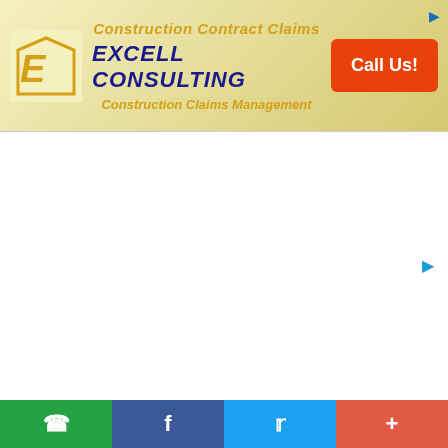[Figure (screenshot): Advertisement banner for Excell Consulting showing logo, company name, Construction Contract Claims text, Construction Claims Management text, and orange Call Us button]
DataGemba ( UK )
[Figure (screenshot): Main content area showing DataGemba UK website with navigation bar and empty white content section]
WhatsApp | Facebook | Twitter | +